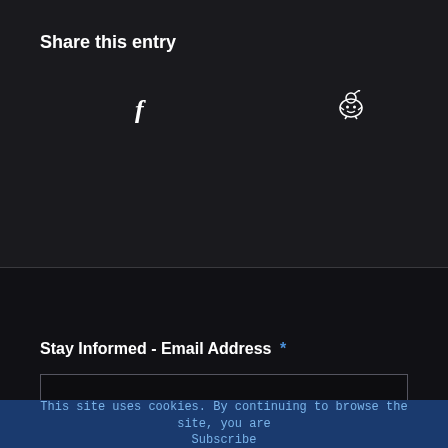Share this entry
[Figure (illustration): Social share icons: Facebook (f) and Reddit (alien icon) on dark background]
Stay Informed - Email Address *
This site uses cookies. By continuing to browse the site, you are Subscribe